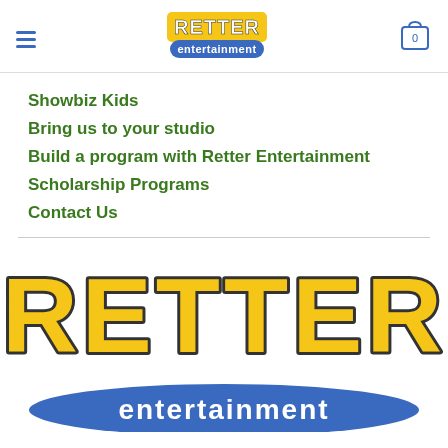[Figure (logo): Retter Entertainment logo in header - yellow bold RETTER text on blue banner with 'entertainment' in white]
Showbiz Kids
Bring us to your studio
Build a program with Retter Entertainment
Scholarship Programs
Contact Us
[Figure (logo): Large Retter Entertainment logo - bold yellow 3D RETTER text with dark outline above blue curved banner with 'entertainment' in white lowercase letters]